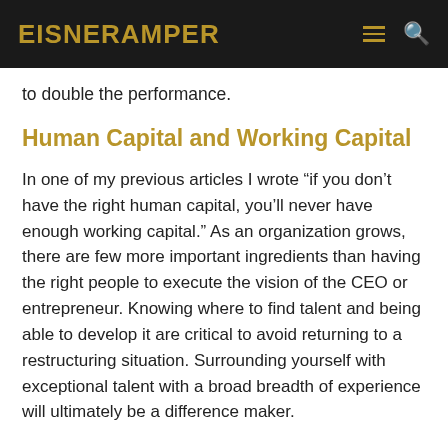EisnerAmper
to double the performance.
Human Capital and Working Capital
In one of my previous articles I wrote “if you don’t have the right human capital, you’ll never have enough working capital.” As an organization grows, there are few more important ingredients than having the right people to execute the vision of the CEO or entrepreneur. Knowing where to find talent and being able to develop it are critical to avoid returning to a restructuring situation. Surrounding yourself with exceptional talent with a broad breadth of experience will ultimately be a difference maker.